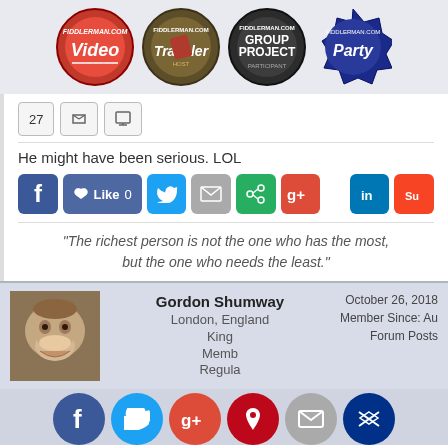[Figure (illustration): Four circular badge icons for Fiddlerman.com: Video badge (red), Traveler badge (olive/brown), Group Project Participant badge (dark), Party badge (dark blue)]
27
He might have been serious. LOL
[Figure (infographic): Social share buttons: Facebook, Like 0, Twitter, Email, Share, Google+, LinkedIn, StumbleUpon]
"The richest person is not the one who has the most, but the one who needs the least."
Gordon Shumway
London, England
King
Member
Regular
October 26, 2018
Member Since: Au
Forum Posts
[Figure (infographic): Bottom social share circular buttons: Facebook, Twitter, Google+, Pinterest, Email, Crown]